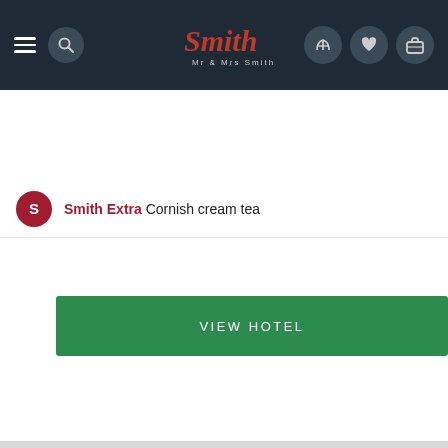[Figure (screenshot): Mr & Mrs Smith hotel booking website screenshot showing navigation bar with hamburger menu, search icon, logo, phone, heart and luggage icons on dark navy background]
Smith Extra Cornish cream tea
VIEW HOTEL
[Figure (photo): Loading/placeholder image area showing Mr & Mrs Smith script watermark logo on light grey background with location pin and heart icon buttons, and left/right navigation arrows. A dark red Help? button appears in the bottom right.]